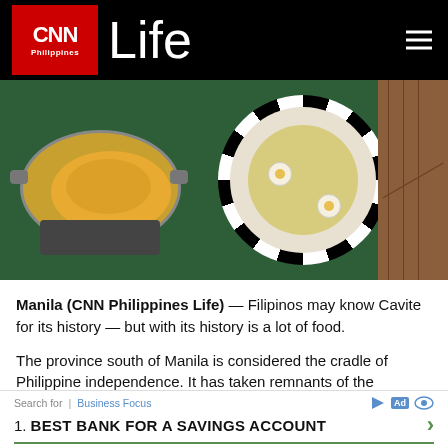CNN Philippines Life
[Figure (photo): Food photo showing Filipino dishes on a green table: a pan with yellow rice on a stove on the left, and a plate with checkered border containing noodles and eggs on the right, with wood floor visible on the far right]
Manila (CNN Philippines Life) — Filipinos may know Cavite for its history — but with its history is a lot of food.
The province south of Manila is considered the cradle of Philippine independence. It has taken remnants of the Spanish colonization — from the goods traded during the galleon trade to the use of the pidgin Spanish language Chabacano — and spun those into its own.
Search for | Business Focus
1. BEST BANK FOR A SAVINGS ACCOUNT